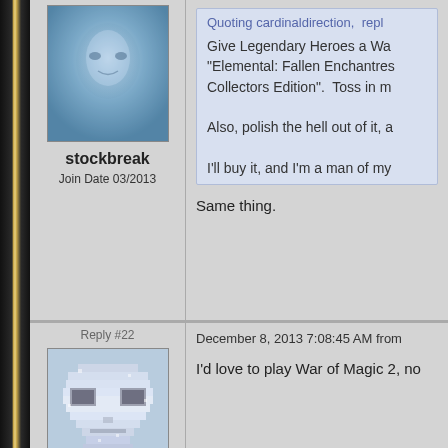[Figure (photo): User avatar for stockbreak - blurry blue-toned face photo]
stockbreak
Join Date 03/2013
Quoting cardinaldirection,  repl
Give Legendary Heroes a Wa "Elemental: Fallen Enchantres Collectors Edition".  Toss in m
Also, polish the hell out of it, a
I'll buy it, and I'm a man of my
Same thing.
Reply #22
December 8, 2013 7:08:45 AM from
[Figure (photo): User avatar for Gandhialf - pixelated alien head graphic on light blue background]
I'd love to play War of Magic 2, no
Gandhialf